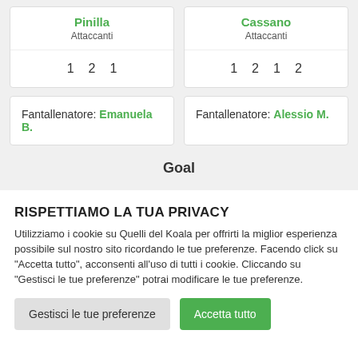Pinilla
Attaccanti
Cassano
Attaccanti
1  2  1
1  2  1  2
Fantallenatore: Emanuela B.
Fantallenatore: Alessio M.
Goal
RISPETTIAMO LA TUA PRIVACY
Utilizziamo i cookie su Quelli del Koala per offrirti la miglior esperienza possibile sul nostro sito ricordando le tue preferenze. Facendo click su “Accetta tutto”, acconsenti all'uso di tutti i cookie. Cliccando su "Gestisci le tue preferenze" potrai modificare le tue preferenze.
Gestisci le tue preferenze
Accetta tutto